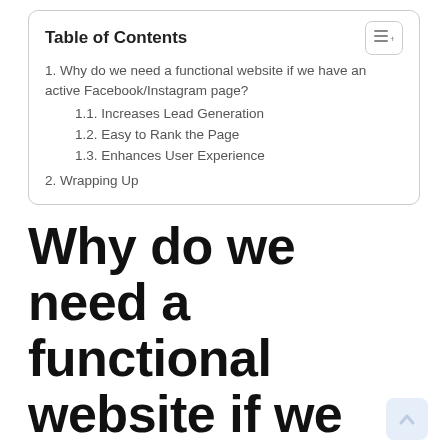Table of Contents
1. Why do we need a functional website if we have an active Facebook/Instagram page?
1.1. Increases Lead Generation
1.2. Easy to Rank the Page
1.3. Enhances User Experience
2. Wrapping Up
Why do we need a functional website if we have an active Facebook/Instagram page?